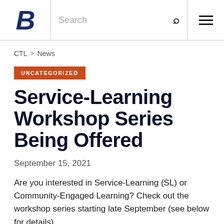B [Boise State logo] | Search | [menu]
CTL > News
UNCATEGORIZED
Service-Learning Workshop Series Being Offered
September 15, 2021
Are you interested in Service-Learning (SL) or Community-Engaged Learning? Check out the workshop series starting late September (see below for details).